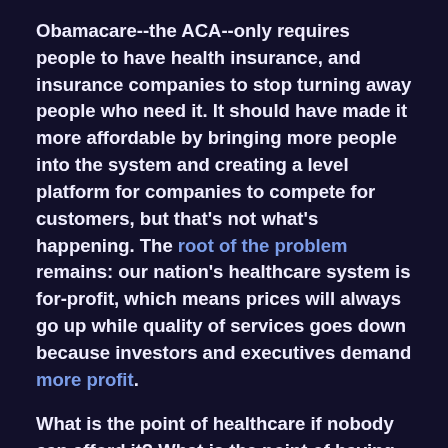Obamacare--the ACA--only requires people to have health insurance, and insurance companies to stop turning away people who need it. It should have made it more affordable by bringing more people into the system and creating a level platform for companies to compete for customers, but that's not what's happening. The root of the problem remains: our nation's healthcare system is for-profit, which means prices will always go up while quality of services goes down because investors and executives demand more profit.
What is the point of healthcare if nobody can afford it? What is the point of having the most advanced system in the world if it bankrupts even the people with insurance and we have to live our lives afraid to go to a doctor? The good plans are still with our employers